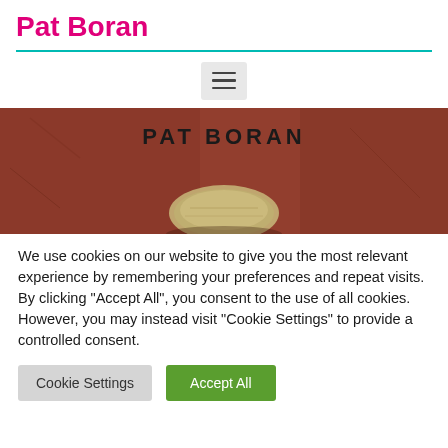Pat Boran
[Figure (screenshot): Hamburger menu button (three horizontal lines) on a light grey background]
[Figure (photo): Close-up of a book cover showing 'PAT BORAN' text on a reddish-brown textured background with what appears to be a stone or carved object at the bottom]
We use cookies on our website to give you the most relevant experience by remembering your preferences and repeat visits. By clicking "Accept All", you consent to the use of all cookies. However, you may instead visit "Cookie Settings" to provide a controlled consent.
Cookie Settings | Accept All